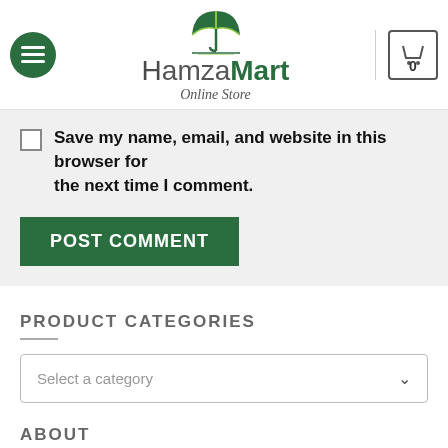Hamza Mart Online Store
Save my name, email, and website in this browser for the next time I comment.
POST COMMENT
PRODUCT CATEGORIES
Select a category
ABOUT
Hamza Mart is an online grocery store and supermarket in Lahore, Pakistan. You order online and we will deliver